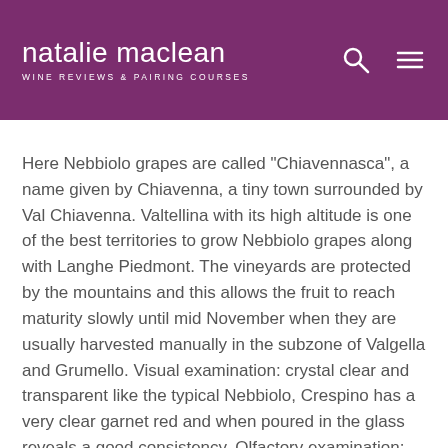natalie maclean / WINE REVIEWS & PAIRING COURSES
Here Nebbiolo grapes are called "Chiavennasca", a name given by Chiavenna, a tiny town surrounded by Val Chiavenna. Valtellina with its high altitude is one of the best territories to grow Nebbiolo grapes along with Langhe Piedmont. The vineyards are protected by the mountains and this allows the fruit to reach maturity slowly until mid November when they are usually harvested manually in the subzone of Valgella and Grumello. Visual examination: crystal clear and transparent like the typical Nebbiolo, Crespino has a very clear garnet red and when poured in the glass reveals a good consistency. Olfactory examination: intense, complex, very fine in quality, it is floral and fruity with notes